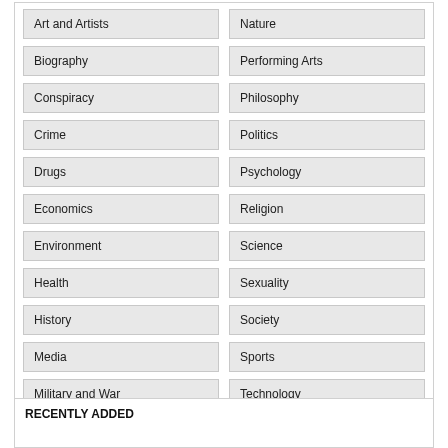Art and Artists
Nature
Biography
Performing Arts
Conspiracy
Philosophy
Crime
Politics
Drugs
Psychology
Economics
Religion
Environment
Science
Health
Sexuality
History
Society
Media
Sports
Military and War
Technology
RECENTLY ADDED